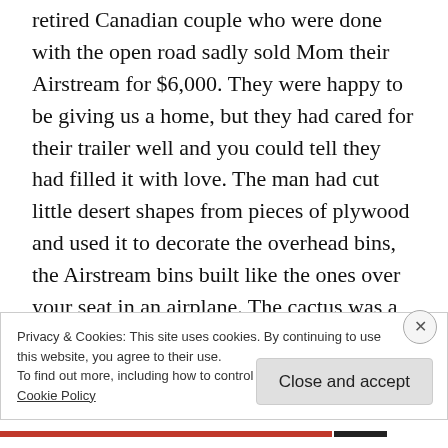retired Canadian couple who were done with the open road sadly sold Mom their Airstream for $6,000. They were happy to be giving us a home, but they had cared for their trailer well and you could tell they had filled it with love. The man had cut little desert shapes from pieces of plywood and used it to decorate the overhead bins, the Airstream bins built like the ones over your seat in an airplane. The cactus was a little off, and the coyote was out of
Privacy & Cookies: This site uses cookies. By continuing to use this website, you agree to their use.
To find out more, including how to control cookies, see here:
Cookie Policy
Close and accept